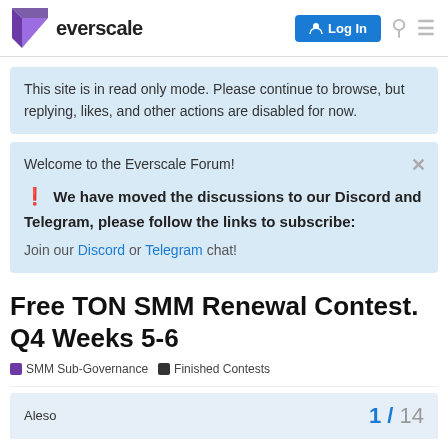everscale — Log In
This site is in read only mode. Please continue to browse, but replying, likes, and other actions are disabled for now.
Welcome to the Everscale Forum!
❗ We have moved the discussions to our Discord and Telegram, please follow the links to subscribe:
Join our Discord or Telegram chat!
Free TON SMM Renewal Contest. Q4 Weeks 5-6
SMM Sub-Governance   Finished Contests
Aleso   1 / 14